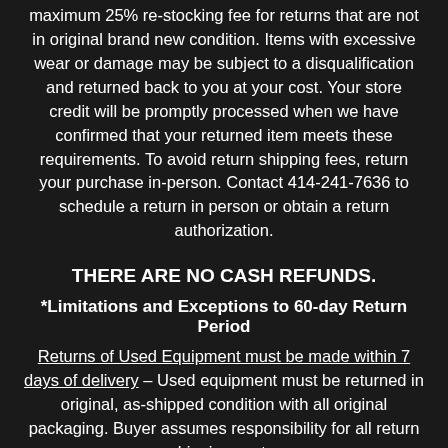maximum 25% re-stocking fee for returns that are not in original brand new condition. Items with excessive wear or damage may be subject to a disqualification and returned back to you at your cost. Your store credit will be promptly processed when we have confirmed that your returned item meets these requirements. To avoid return shipping fees, return your purchase in-person. Contact 414-241-7636 to schedule a return in person or obtain a return authorization.
THERE ARE NO CASH REFUNDS.
*Limitations and Exceptions to 60-day Return Period
Returns of Used Equipment must be made within 7 days of delivery – Used equipment must be returned in original, as-shipped condition with all original packaging. Buyer assumes responsibility for all return shipping costs.
Jackson, B.C Rich, and ESP Custom Shop products